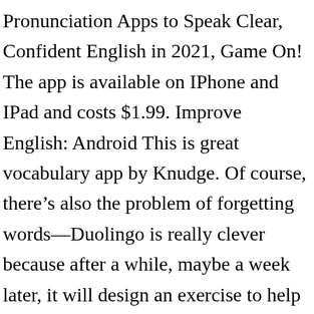Pronunciation Apps to Speak Clear, Confident English in 2021, Game On! The app is available on IPhone and IPad and costs $1.99. Improve English: Android This is great vocabulary app by Knudge. Of course, there's also the problem of forgetting words—Duolingo is really clever because after a while, maybe a week later, it will design an exercise to help you practice words you were weak on. This way, after doing these review exercises a few times, these words become much easier to remember. Each Busuu lesson has some